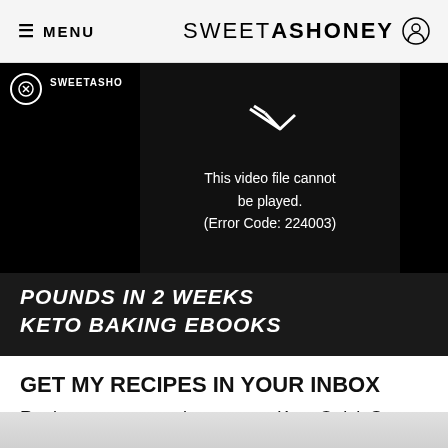≡ MENU   SWEETASHONEY ⊙
[Figure (screenshot): Video player showing error message: 'This video file cannot be played. (Error Code: 224003)' on black background with SWEETASHO label and close button]
POUNDS IN 2 WEEKS
KETO BAKING EBOOKS
GET MY RECIPES IN YOUR INBOX
Register to my newsletter, get a Keto Quick Start Guide and receive recipes straight in your